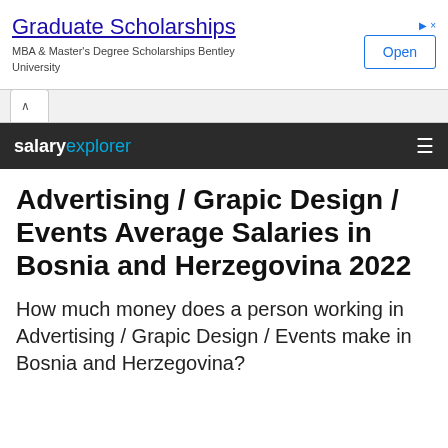[Figure (screenshot): Advertisement banner for Graduate Scholarships from Bentley University with an Open button]
salaryexplorer
Advertising / Grapic Design / Events Average Salaries in Bosnia and Herzegovina 2022
How much money does a person working in Advertising / Grapic Design / Events make in Bosnia and Herzegovina?